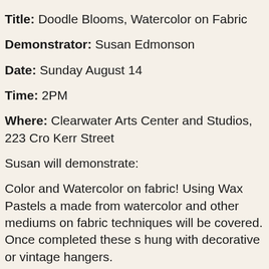Title: Doodle Blooms, Watercolor on Fabric
Demonstrator: Susan Edmonson
Date: Sunday August 14
Time: 2PM
Where: Clearwater Arts Center and Studios, 223 Cro Kerr Street
Susan will demonstrate:
Color and Watercolor on fabric! Using Wax Pastels a made from watercolor and other mediums on fabric techniques will be covered. Once completed these s hung with decorative or vintage hangers.
We are so excited to welcome Susan to Free Demo